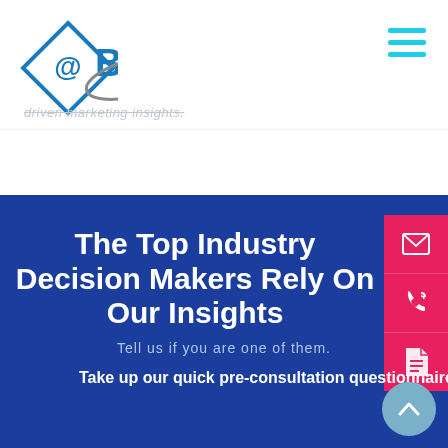[Figure (logo): @B2B logo with diamond shape containing @ symbol and B2B text with orbital arc]
[Figure (other): Hamburger menu icon (three horizontal cyan lines)]
driven marketing insights.
The Top Industry Decision Makers Rely On Our Insights
Tell us if you are one of them.
Take up our quick pre-consultation questionnaire to 10X your reach among Radiology customers.